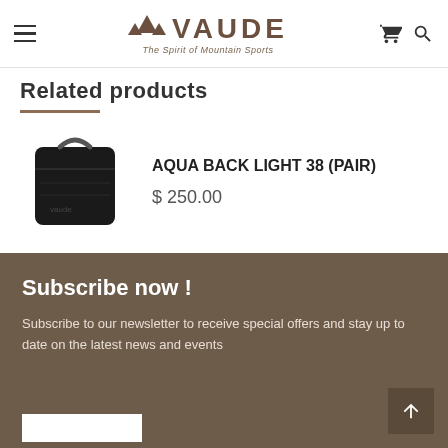VAUDE – The Spirit of Mountain Sports
Related products
[Figure (photo): Black Aqua Back Light 38 pannier bag product photo on white background]
AQUA BACK LIGHT 38 (PAIR)
$ 250.00
Subscribe now !
Subscribe to our newsletter to receive special offers and stay up to date on the latest news and events